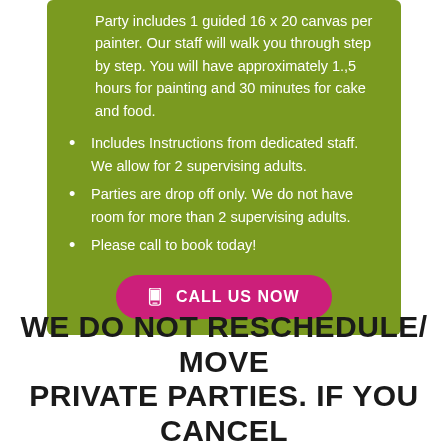Party includes 1 guided 16 x 20 canvas per painter. Our staff will walk you through step by step. You will have approximately 1.,5 hours for painting and 30 minutes for cake and food.
Includes Instructions from dedicated staff. We allow for 2 supervising adults.
Parties are drop off only. We do not have room for more than 2 supervising adults.
Please call to book today!
CALL US NOW
WE DO NOT RESCHEDULE/ MOVE PRIVATE PARTIES. IF YOU CANCEL